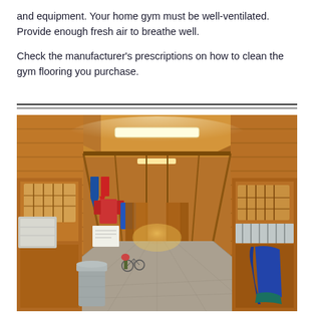and equipment. Your home gym must be well-ventilated. Provide enough fresh air to breathe well.
Check the manufacturer's prescriptions on how to clean the gym flooring you purchase.
[Figure (photo): Interior of a wooden horse stable with a long corridor, wooden stall doors on both sides, fluorescent ceiling lights, concrete floor, a metal trash can on the left, colorful ribbons and garments hanging on the left wall, and a blue blanket draped over a stall door on the right.]